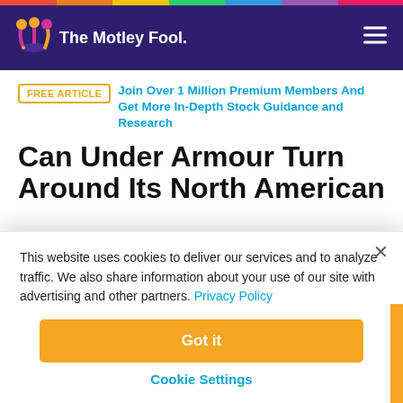The Motley Fool
FREE ARTICLE  Join Over 1 Million Premium Members And Get More In-Depth Stock Guidance and Research
Can Under Armour Turn Around Its North American Business?
This website uses cookies to deliver our services and to analyze traffic. We also share information about your use of our site with advertising and other partners. Privacy Policy
Got it
Cookie Settings